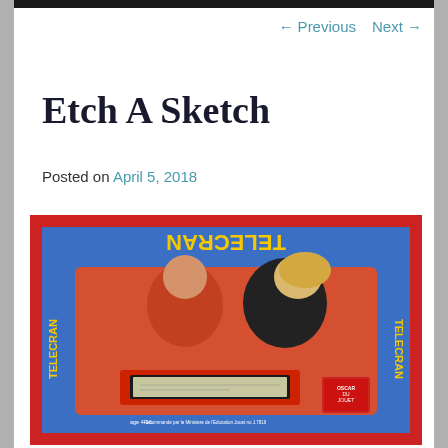← Previous   Next →
Etch A Sketch
Posted on April 5, 2018
[Figure (photo): Vintage Telecran (French Etch A Sketch) toy box showing two children looking at the drawing screen. Box has red and blue colors with 'TELECRAN' text. Label shows 'age 4-16' and 'Recommande par le Ministere de l'Education Jouet no J.7819'.]